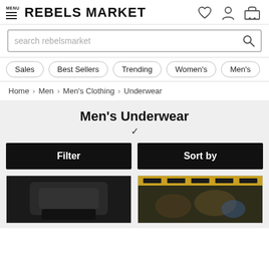REBELS MARKET
search rebelsmarket
Sales
Best Sellers
Trending
Women's
Men's
Home > Men > Men's Clothing > Underwear
Men's Underwear
Filter
Sort by
[Figure (photo): Product thumbnails for men's underwear items]